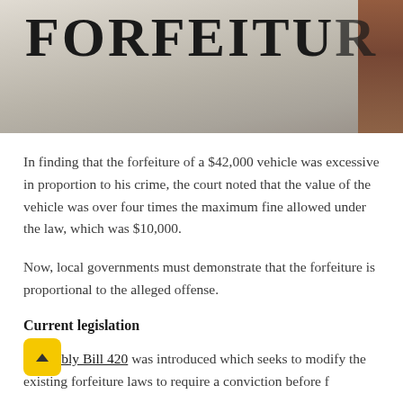[Figure (photo): Photograph of a document with the word FORFEITURE printed in large bold uppercase letters, partially cropped at the top. A brown/reddish accent visible on the right side.]
In finding that the forfeiture of a $42,000 vehicle was excessive in proportion to his crime, the court noted that the value of the vehicle was over four times the maximum fine allowed under the law, which was $10,000.
Now, local governments must demonstrate that the forfeiture is proportional to the alleged offense.
Current legislation
Assembly Bill 420 was introduced which seeks to modify the existing forfeiture laws to require a conviction before forfeiture and directs that the proceeds go to the State Permanent School Fund. Currently the law allows the